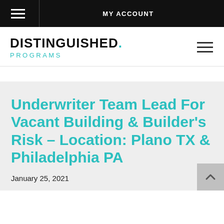MY ACCOUNT
DISTINGUISHED. PROGRAMS
Underwriter Team Lead For Vacant Building & Builder's Risk – Location: Plano TX & Philadelphia PA
January 25, 2021